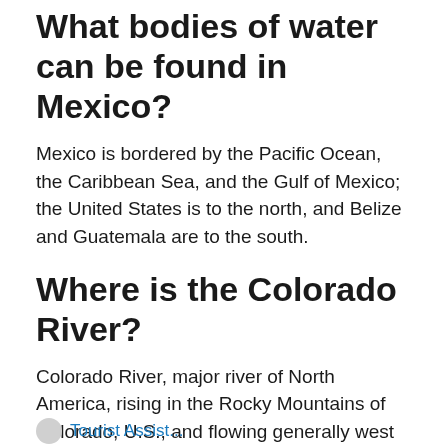What bodies of water can be found in Mexico?
Mexico is bordered by the Pacific Ocean, the Caribbean Sea, and the Gulf of Mexico; the United States is to the north, and Belize and Guatemala are to the south.
Where is the Colorado River?
Colorado River, major river of North America, rising in the Rocky Mountains of Colorado, U.S., and flowing generally west and south for 1,450 miles (2,330 kilometres) into the Gulf of California in northwestern Mexico.
Tourist Assist...